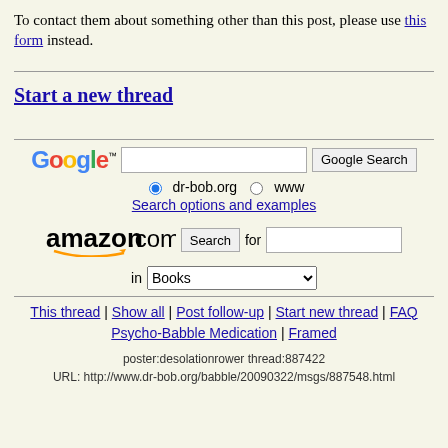To contact them about something other than this post, please use this form instead.
Start a new thread
[Figure (screenshot): Google search box with radio buttons for dr-bob.org and www, plus Search options and examples link]
[Figure (screenshot): Amazon.com search box with Books dropdown]
This thread | Show all | Post follow-up | Start new thread | FAQ Psycho-Babble Medication | Framed
poster:desolationrower thread:887422 URL: http://www.dr-bob.org/babble/20090322/msgs/887548.html